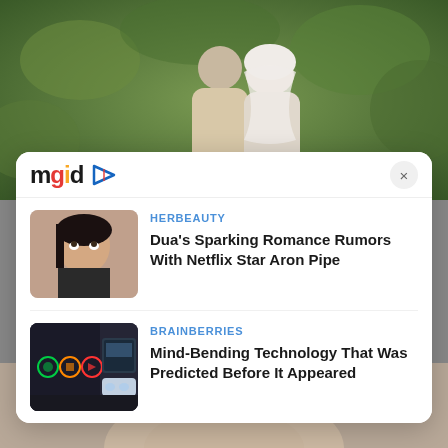[Figure (photo): Background: couple in beige/cream outfits posing outdoors against green foliage background. Woman wearing white hijab, man in beige outfit.]
[Figure (logo): mgid logo with colorful letters and play button icon]
[Figure (photo): Thumbnail image of a woman with dark hair looking upward]
HERBEAUTY
Dua's Sparking Romance Rumors With Netflix Star Aron Pipe
KONTEN KOMERSIL
mgid
[Figure (photo): Thumbnail image of a futuristic tech/gaming room with colorful circular displays on a dark wall]
BRAINBERRIES
Mind-Bending Technology That Was Predicted Before It Appeared
[Figure (photo): Background bottom: woman's face with blonde hair, partially visible]